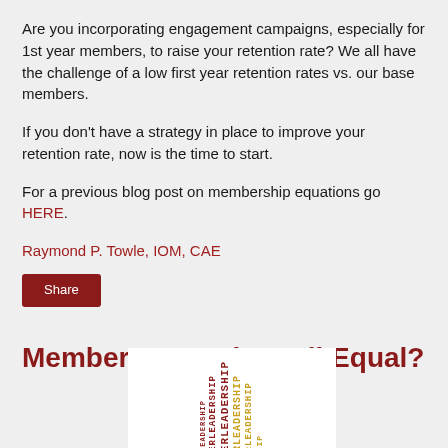Are you incorporating engagement campaigns, especially for 1st year members, to raise your retention rate? We all have the challenge of a low first year retention rates vs. our base members.
If you don't have a strategy in place to improve your retention rate, now is the time to start.
For a previous blog post on membership equations go HERE.
Raymond P. Towle, IOM, CAE
Share
Members: Are They All Equal?
[Figure (illustration): Word art image showing the word LEADERSHIP repeated in vertical text in dark red and orange colors]